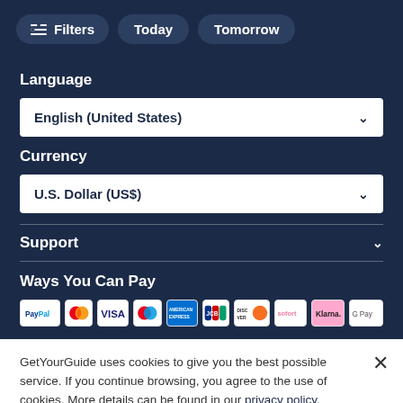Filters  Today  Tomorrow
Language
English (United States)
Currency
U.S. Dollar (US$)
Support
Ways You Can Pay
[Figure (infographic): Payment method logos: PayPal, Mastercard, VISA, Maestro, American Express, JCB, Discover, Sofort, Klarna, Google Pay]
GetYourGuide uses cookies to give you the best possible service. If you continue browsing, you agree to the use of cookies. More details can be found in our privacy policy.